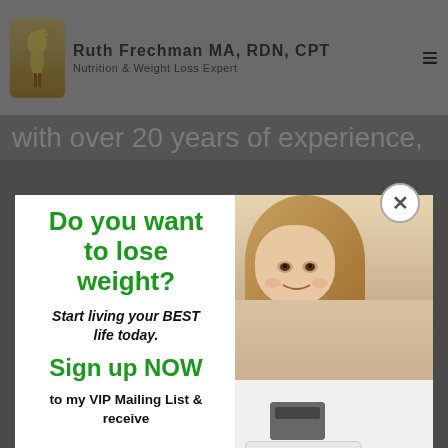Ruth Frechman MA, RDN, CPT
Nutrition & Weight Loss Expert
with over 20 years of experience,
Do you want to lose weight?
Start living your BEST life today.
Sign up NOW
to my VIP Mailing List & receive
[Figure (photo): Woman looking unhappy on a weighing scale, holding the scale bar, with long brown hair]